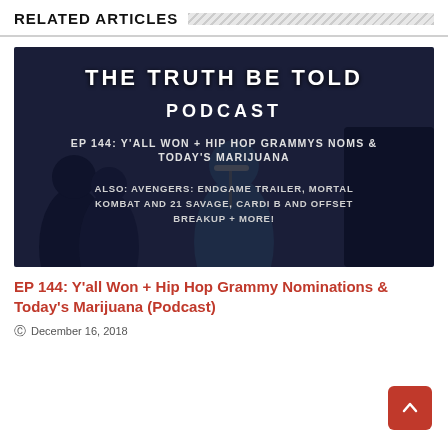RELATED ARTICLES
[Figure (photo): Podcast cover image for 'The Truth Be Told Podcast' EP 144: Y'all Won + Hip Hop Grammys Noms & Today's Marijuana. Also: Avengers: Endgame Trailer, Mortal Kombat and 21 Savage, Cardi B and Offset Breakup + More! Dark background with silhouetted figures.]
EP 144: Y'all Won + Hip Hop Grammy Nominations & Today's Marijuana (Podcast)
December 16, 2018